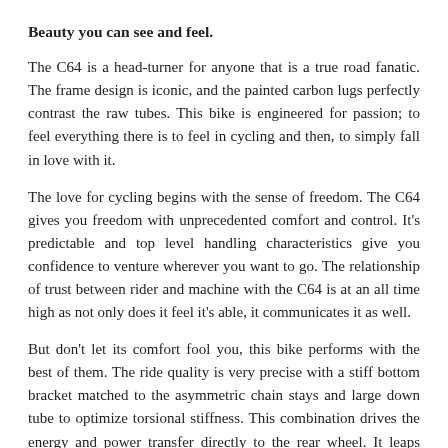Beauty you can see and feel.
The C64 is a head-turner for anyone that is a true road fanatic.  The frame design is iconic, and the painted carbon lugs perfectly contrast the raw tubes. This bike is engineered for passion; to feel everything there is to feel in cycling and then, to simply fall in love with it.
The love for cycling begins with the sense of freedom. The C64 gives you freedom with unprecedented comfort and control.  It's predictable and top level handling characteristics give you confidence to venture wherever you want to go.  The relationship of trust between rider and machine with the C64 is at an all time high as not only does it feel it's able, it communicates it as well.
But don't let its comfort fool you, this bike performs with the best of them.  The ride quality is very precise with a stiff bottom bracket matched to the asymmetric chain stays and large down tube to optimize torsional stiffness. This combination drives the energy and power transfer directly to the rear wheel. It leaps when called to sprint; it soars up climbs.
The fork tracks perfectly while absorbing the bumps and road